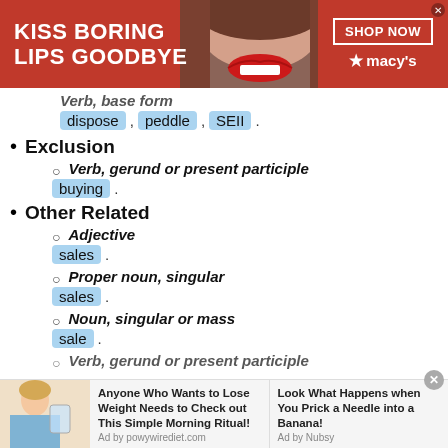[Figure (other): Macy's advertisement banner: KISS BORING LIPS GOODBYE with woman's lips photo and SHOP NOW button]
Verb, base form — dispose , peddle , SEII .
Exclusion
Verb, gerund or present participle — buying .
Other Related
Adjective — sales .
Proper noun, singular — sales .
Noun, singular or mass — sale .
Verb, gerund or present participle (partial)
[Figure (other): Bottom advertisement: Anyone Who Wants to Lose Weight Needs to Check out This Simple Morning Ritual! and Look What Happens when You Prick a Needle into a Banana!]